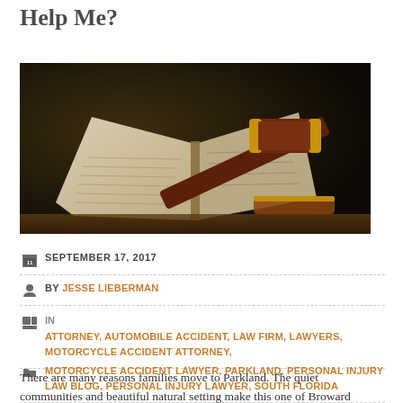Help Me?
[Figure (photo): A judge's gavel resting on an open book/law book on a dark wooden surface with dark background.]
SEPTEMBER 17, 2017
BY JESSE LIEBERMAN
IN ATTORNEY, AUTOMOBILE ACCIDENT, LAW FIRM, LAWYERS, MOTORCYCLE ACCIDENT ATTORNEY, MOTORCYCLE ACCIDENT LAWYER, PARKLAND, PERSONAL INJURY LAW BLOG, PERSONAL INJURY LAWYER, SOUTH FLORIDA
NO COMMENT
There are many reasons families move to Parkland. The quiet communities and beautiful natural setting make this one of Broward...